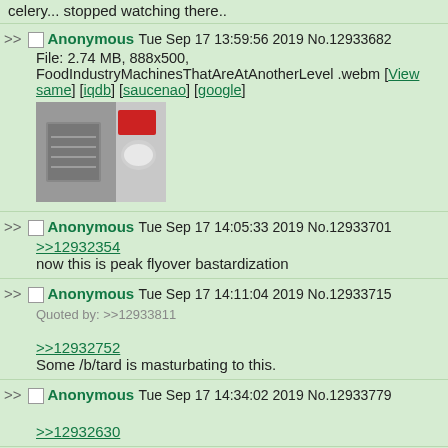celery... stopped watching there..
Anonymous Tue Sep 17 13:59:56 2019 No.12933682
File: 2.74 MB, 888x500, FoodIndustryMachinesThatAreAtAnotherLevel .webm [View same] [iqdb] [saucenao] [google]
[Figure (photo): Thumbnail of a food industry machine video, showing industrial machinery with metal parts]
Anonymous Tue Sep 17 14:05:33 2019 No.12933701
>>12932354
now this is peak flyover bastardization
Anonymous Tue Sep 17 14:11:04 2019 No.12933715
Quoted by: >>12933811
>>12932752
Some /b/tard is masturbating to this.
Anonymous Tue Sep 17 14:34:02 2019 No.12933779
>>12932630